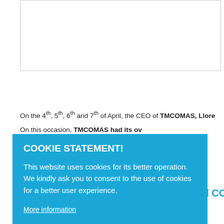[Figure (other): White box / image placeholder at top of page]
On the 4th, 5th, 6th and 7th of April, the CEO of TMCOMAS, Llore... On this occasion, TMCOMAS had its ov... n machining, rotating machinery rep... g, reverse engineering and especia... air, TMCOMAS also had opportunity...
eminated COMBILASER a
COOKIE STATEMENT!

This website uses cookies for its better operation. We kindly ask you to consent to the use of cookies for a better user experience.

More information

ALLOW COOKIES